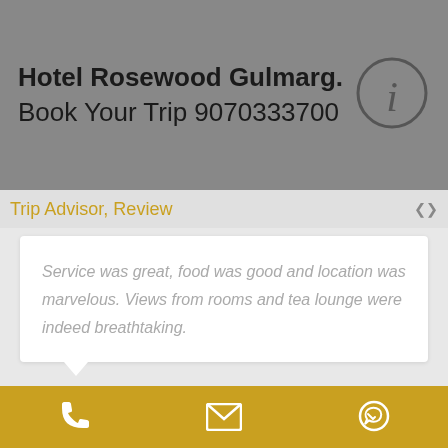Hotel Rosewood Gulmarg. Book Your Trip 9070333700
Trip Advisor, Review
Service was great, food was good and location was marvelous. Views from rooms and tea lounge were indeed breathtaking.
Sonia G, Trip Advisor
GETTING HERE
[Figure (infographic): Bottom navigation bar with phone, email, and WhatsApp icons on a gold/yellow background]